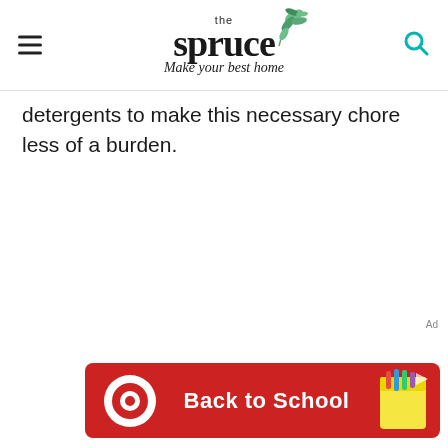the spruce — Make your best home
detergents to make this necessary chore less of a burden.
[Figure (other): Target Back to School advertisement banner with red background, Target bullseye logo, and school supply imagery]